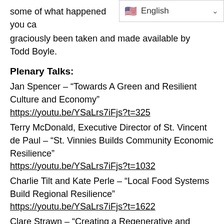some of what happened you ca... graciously been taken and made available by Todd Boyle.
Plenary Talks:
Jan Spencer – “Towards A Green and Resilient Culture and Economy”
https://youtu.be/YSaLrs7iFjs?t=325
Terry McDonald, Executive Director of St. Vincent de Paul – “St. Vinnies Builds Community Economic Resilience”
https://youtu.be/YSaLrs7iFjs?t=1032
Charlie Tilt and Kate Perle – “Local Food Systems Build Regional Resilience”
https://youtu.be/YSaLrs7iFjs?t=1622
Clare Strawn – “Creating a Regenerative and Resilient Local Economy”
https://youtu.be/YSaLrs7iFjs?t=3377
Residential Coops: